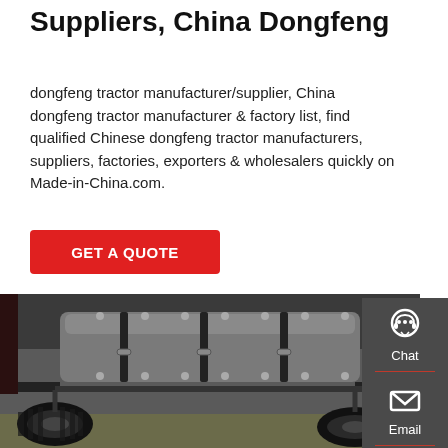Suppliers, China Dongfeng
dongfeng tractor manufacturer/supplier, China dongfeng tractor manufacturer & factory list, find qualified Chinese dongfeng tractor manufacturers, suppliers, factories, exporters & wholesalers quickly on Made-in-China.com.
GET A QUOTE
[Figure (photo): Underside view of a Dongfeng truck/tractor chassis showing tires, axles, fuel tank with straps and bolts, and suspension components from below]
[Figure (infographic): Sidebar with Chat, Email, and Contact icons on dark gray background with red dividers]